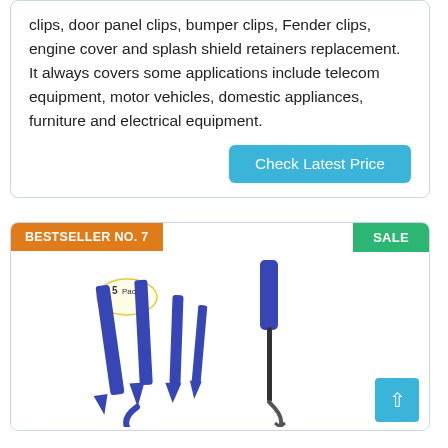clips, door panel clips, bumper clips, Fender clips, engine cover and splash shield retainers replacement. It always covers some applications include telecom equipment, motor vehicles, domestic appliances, furniture and electrical equipment.
Check Latest Price
BESTSELLER NO. 7
SALE
[Figure (photo): 5-pack set of blue plastic trim removal pry tools and a metal hook/pick tool with blue handle on white background]